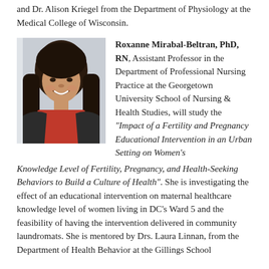and Dr. Alison Kriegel from the Department of Physiology at the Medical College of Wisconsin.
[Figure (photo): Headshot photo of Roxanne Mirabal-Beltran, a woman with long dark hair, smiling, wearing a dark jacket over a red top.]
Roxanne Mirabal-Beltran, PhD, RN, Assistant Professor in the Department of Professional Nursing Practice at the Georgetown University School of Nursing & Health Studies, will study the "Impact of a Fertility and Pregnancy Educational Intervention in an Urban Setting on Women's Knowledge Level of Fertility, Pregnancy, and Health-Seeking Behaviors to Build a Culture of Health". She is investigating the effect of an educational intervention on maternal healthcare knowledge level of women living in DC's Ward 5 and the feasibility of having the intervention delivered in community laundromats. She is mentored by Drs. Laura Linnan, from the Department of Health Behavior at the Gillings School